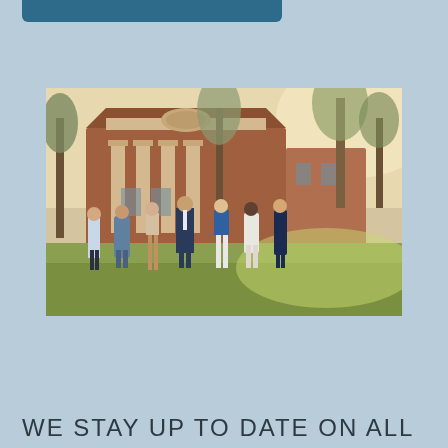[Figure (photo): Group photo of approximately 7 professionals (men and women) standing on a lawn in front of a large red brick building with white columns, possibly a university or institutional building. Trees are visible. The group is dressed in business casual attire.]
WE STAY UP TO DATE ON ALL